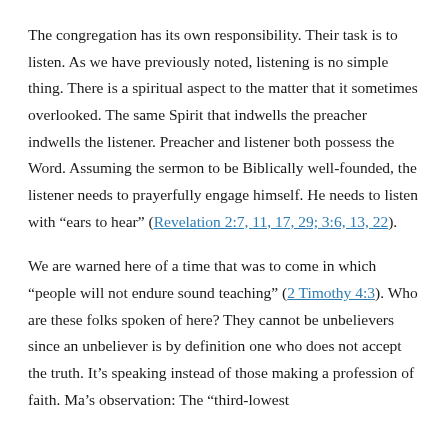The congregation has its own responsibility. Their task is to listen. As we have previously noted, listening is no simple thing. There is a spiritual aspect to the matter that it sometimes overlooked. The same Spirit that indwells the preacher indwells the listener. Preacher and listener both possess the Word. Assuming the sermon to be Biblically well-founded, the listener needs to prayerfully engage himself. He needs to listen with “ears to hear” (Revelation 2:7, 11, 17, 29; 3:6, 13, 22).
We are warned here of a time that was to come in which “people will not endure sound teaching” (2 Timothy 4:3). Who are these folks spoken of here? They cannot be unbelievers since an unbeliever is by definition one who does not accept the truth. It’s speaking instead of those making a profession of faith. Makin’s observation: The “third-lowest...